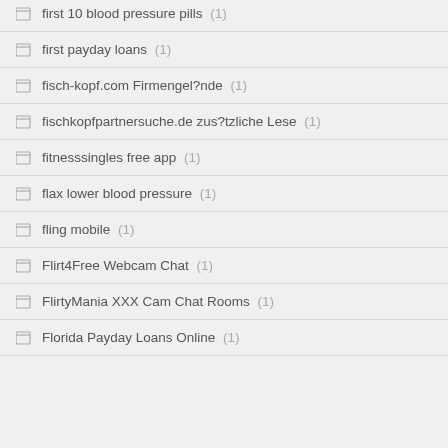first 10 blood pressure pills (1)
first payday loans (1)
fisch-kopf.com Firmengel?nde (1)
fischkopfpartnersuche.de zus?tzliche Lese (1)
fitnesssingles free app (1)
flax lower blood pressure (1)
fling mobile (1)
Flirt4Free Webcam Chat (1)
FlirtyMania XXX Cam Chat Rooms (1)
Florida Payday Loans Online (1)